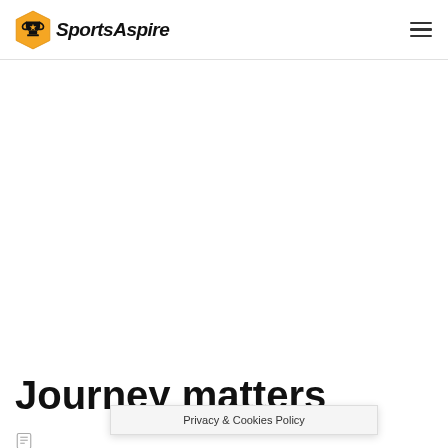SportsAspire
[Figure (other): Large white/blank advertisement area in the center of the page]
Journey matters
Privacy & Cookies Policy